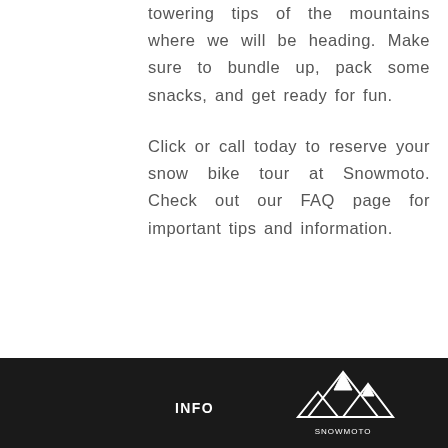towering tips of the mountains where we will be heading. Make sure to bundle up, pack some snacks, and get ready for fun.
Click or call today to reserve your snow bike tour at Snowmoto. Check out our FAQ page for important tips and information.
INFO